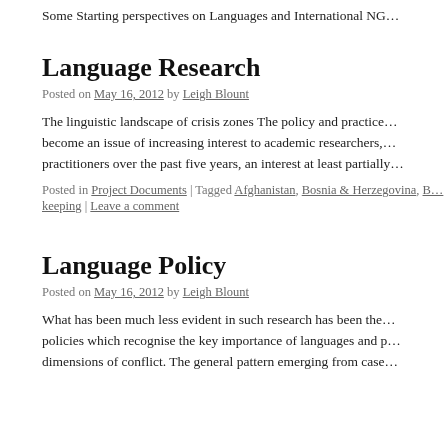Some Starting perspectives on Languages and International NG…
Language Research
Posted on May 16, 2012 by Leigh Blount
The linguistic landscape of crisis zones The policy and practice… become an issue of increasing interest to academic researchers,… practitioners over the past five years, an interest at least partially…
Posted in Project Documents | Tagged Afghanistan, Bosnia & Herzegovina, B… keeping | Leave a comment
Language Policy
Posted on May 16, 2012 by Leigh Blount
What has been much less evident in such research has been the… policies which recognise the key importance of languages and p… dimensions of conflict. The general pattern emerging from case…